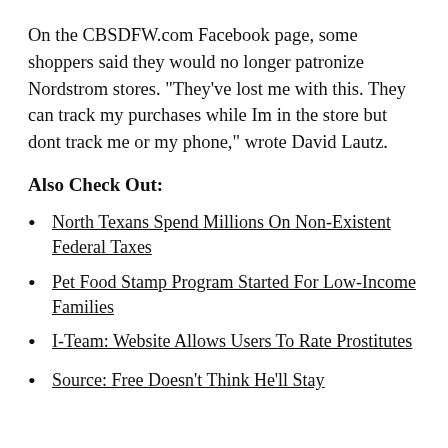On the CBSDFW.com Facebook page, some shoppers said they would no longer patronize Nordstrom stores.  "They've lost me with this. They can track my purchases while Im in the store but dont track me or my phone," wrote David Lautz.
Also Check Out:
North Texans Spend Millions On Non-Existent Federal Taxes
Pet Food Stamp Program Started For Low-Income Families
I-Team: Website Allows Users To Rate Prostitutes
Source: Free Doesn't Think He'll Stay